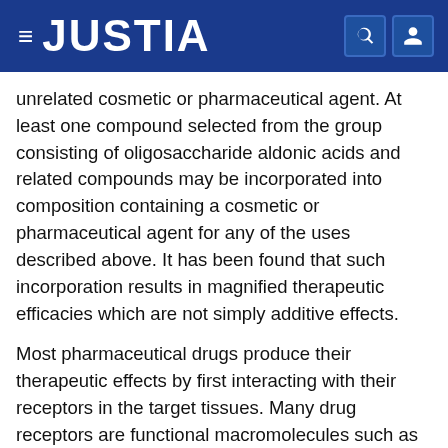JUSTIA
unrelated cosmetic or pharmaceutical agent. At least one compound selected from the group consisting of oligosaccharide aldonic acids and related compounds may be incorporated into composition containing a cosmetic or pharmaceutical agent for any of the uses described above. It has been found that such incorporation results in magnified therapeutic efficacies which are not simply additive effects.
Most pharmaceutical drugs produce their therapeutic effects by first interacting with their receptors in the target tissues. Many drug receptors are functional macromolecules such as enzymes, cell membrane components or certain components of cells. The binding affinity or interacting property of a drug toward its specific receptor molecule is intimately governed by the chemical structure of the drug. Since most